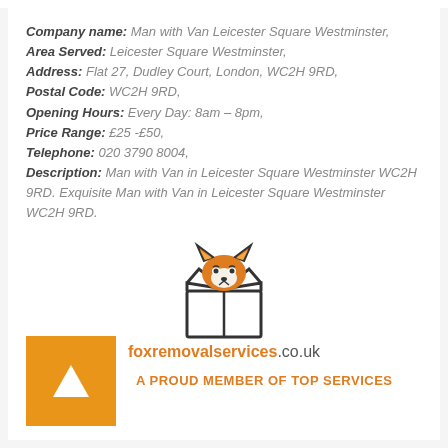Company name: Man with Van Leicester Square Westminster, Area Served: Leicester Square Westminster, Address: Flat 27, Dudley Court, London, WC2H 9RD, Postal Code: WC2H 9RD, Opening Hours: Every Day: 8am – 8pm, Price Range: £25 -£50, Telephone: 020 3790 8004, Description: Man with Van in Leicester Square Westminster WC2H 9RD. Exquisite Man with Van in Leicester Square Westminster WC2H 9RD.
[Figure (logo): Fox removal services logo: a fox face inside an open cardboard box, with text foxremovalservices.co.uk below]
[Figure (logo): Orange square with white triangle/play button icon]
A PROUD MEMBER OF TOP SERVICES